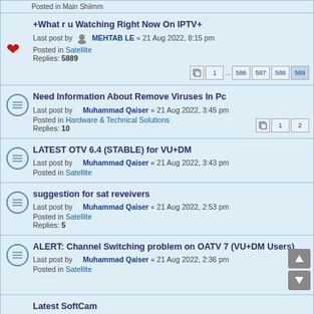Posted in Main Shiimm
+What r u Watching Right Now On IPTV+
Last post by MEHTAB LE « 21 Aug 2022, 8:15 pm
Posted in Satellite
Replies: 5889
Pages: 1 ... 586 587 588 589
Need Information About Remove Viruses In Pc
Last post by Muhammad Qaiser « 21 Aug 2022, 3:45 pm
Posted in Hardware & Technical Solutions
Replies: 10
Pages: 1 2
LATEST OTV 6.4 (STABLE) for VU+DM
Last post by Muhammad Qaiser « 21 Aug 2022, 3:43 pm
Posted in Satellite
suggestion for sat reveivers
Last post by Muhammad Qaiser « 21 Aug 2022, 2:53 pm
Posted in Satellite
Replies: 5
ALERT: Channel Switching problem on OATV 7 (VU+DM Users)
Last post by Muhammad Qaiser « 21 Aug 2022, 2:36 pm
Posted in Satellite
Latest SoftCam